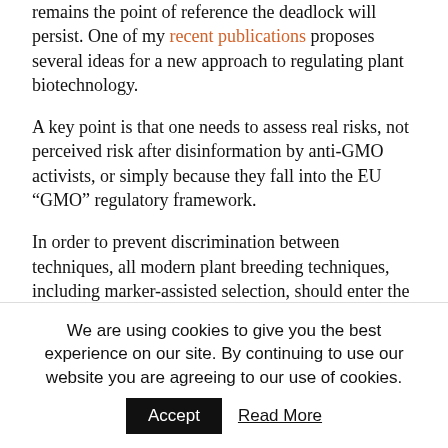remains the point of reference the deadlock will persist. One of my recent publications proposes several ideas for a new approach to regulating plant biotechnology.
A key point is that one needs to assess real risks, not perceived risk after disinformation by anti-GMO activists, or simply because they fall into the EU “GMO” regulatory framework.
In order to prevent discrimination between techniques, all modern plant breeding techniques, including marker-assisted selection, should enter the risk assessment from the same starting line.
We proposed a simple operational method, which
We are using cookies to give you the best experience on our site. By continuing to use our website you are agreeing to our use of cookies.